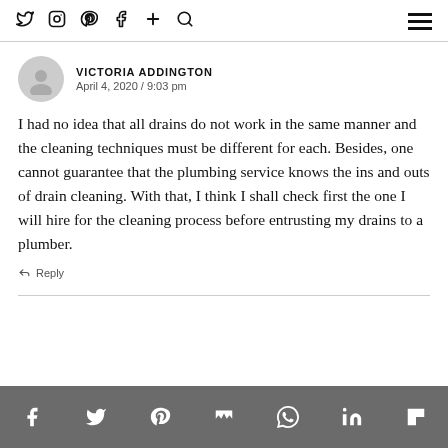Social media navigation icons and hamburger menu
[Figure (illustration): User avatar placeholder (grey circle with person silhouette)]
VICTORIA ADDINGTON
April 4, 2020 / 9:03 pm
I had no idea that all drains do not work in the same manner and the cleaning techniques must be different for each. Besides, one cannot guarantee that the plumbing service knows the ins and outs of drain cleaning. With that, I think I shall check first the one I will hire for the cleaning process before entrusting my drains to a plumber.
Reply
Social sharing icons: Facebook, Twitter, Pinterest, Mix, WhatsApp, LinkedIn, Flipboard